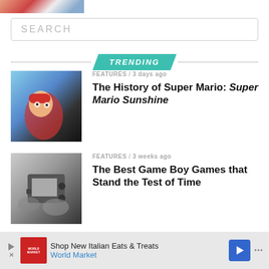[Figure (photo): Partial image at top of page, appears to be a game character]
SEARCH
TRENDING
[Figure (photo): Mario character from Super Mario Sunshine game art]
FEATURES / 3 days ago
The History of Super Mario: Super Mario Sunshine
[Figure (photo): Black and white photo of hands holding a Game Boy]
FEATURES / 3 weeks ago
The Best Game Boy Games that Stand the Test of Time
[Figure (photo): Anime-style illustration of Persona game characters]
FEATURES / 4 weeks ago
Every Mainline Persona Game, Ranked
Shop New Italian Eats & Treats World Market